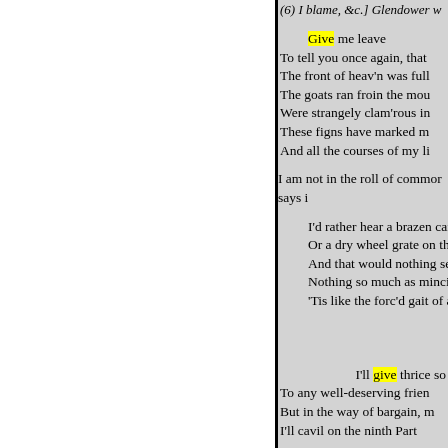(6) I blame, &c.] Glendower w
Give me leave
To tell you once again, that
The front of heav'n was full
The goats ran froin the mou
Were strangely clam'rous in
These figns have marked m
And all the courses of my li
I am not in the roll of common says i
I'd rather hear a brazen cand
Or a dry wheel grate on the
And that would nothing set
Nothing so much as mincin
'Tis like the forc'd gait of a
I'll give thrice so
To any well-deserving frien
But in the way of bargain, m
I'll cavil on the ninth Part